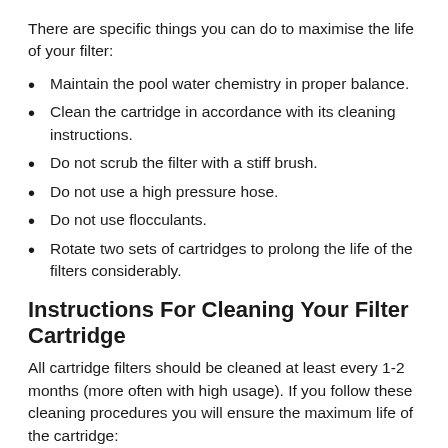There are specific things you can do to maximise the life of your filter:
Maintain the pool water chemistry in proper balance.
Clean the cartridge in accordance with its cleaning instructions.
Do not scrub the filter with a stiff brush.
Do not use a high pressure hose.
Do not use flocculants.
Rotate two sets of cartridges to prolong the life of the filters considerably.
Instructions For Cleaning Your Filter Cartridge
All cartridge filters should be cleaned at least every 1-2 months (more often with high usage). If you follow these cleaning procedures you will ensure the maximum life of the cartridge: